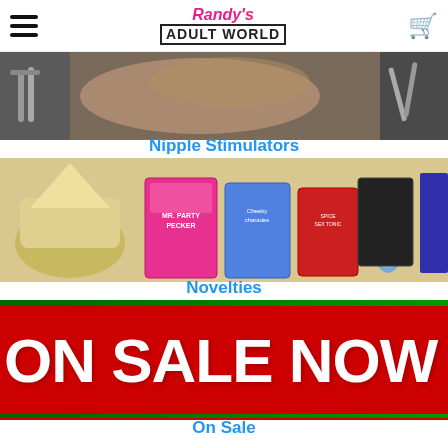Randy's Adult World
[Figure (photo): Close-up banner image of couple with nipple clamp accessories visible]
Nipple Stimulators
[Figure (photo): Novelty adult products collage including Mr. Party Pecker game, cheeky charades, sex toys, light-up pecker cake topper, and adult books]
Novelties
[Figure (other): Red sale banner reading ON SALE NOW in large white bold text]
On Sale
[Figure (photo): OVO Lifestyle Toys product photo showing purple vibrator with orchid flowers and black wand on white background with OVO logo]
OVO Lifestyle Toys